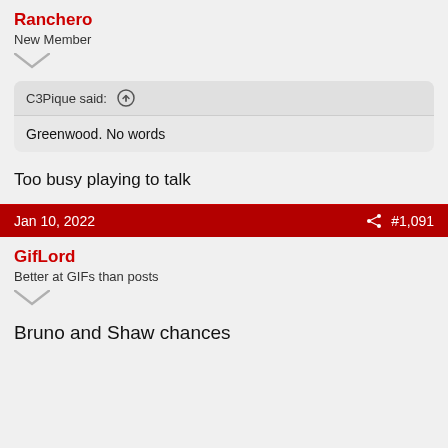Ranchero
New Member
C3Pique said: ↑
Greenwood. No words
Too busy playing to talk
Jan 10, 2022  #1,091
GifLord
Better at GIFs than posts
Bruno and Shaw chances